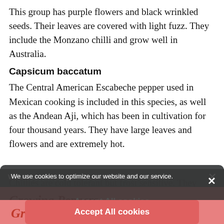This group has purple flowers and black wrinkled seeds. Their leaves are covered with light fuzz. They include the Monzano chilli and grow well in Australia.
Capsicum baccatum
The Central American Escabeche pepper used in Mexican cooking is included in this species, as well as the Andean Aji, which has been in cultivation for four thousand years. They have large leaves and flowers and are extremely hot.
Growing Peppers
Chillies are cold tolerant but frost sensitive. They grow as a perennial in subtropical and tropical climates and as an annual in temperate regions. Sow the seeds indoors in late winter
We use cookies to optimize our website and our service.
Accept All cookies
Deny
Cookie policy · Privacy Policy
Share This